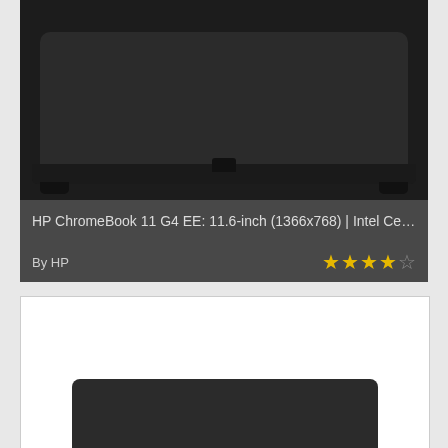[Figure (photo): HP ChromeBook laptop product photo showing closed lid from above, dark grey/black casing, displayed on white background. Below the photo is a dark grey info bar.]
HP ChromeBook 11 G4 EE: 11.6-inch (1366x768) | Intel Cele...
By HP
[Figure (photo): Second HP ChromeBook laptop product photo showing partial view of the laptop lid from an angle, dark grey/black casing on white background.]